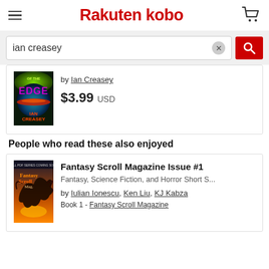Rakuten kobo
ian creasey
[Figure (photo): Book cover: 'Of the Edge' by Ian Creasey — colorful sci-fi art with glowing green/blue/red globe and text]
by Ian Creasey
$3.99 USD
People who read these also enjoyed
Fantasy Scroll Magazine Issue #1
[Figure (photo): Book cover: Fantasy Scroll Magazine Issue #1 — fantasy dragon flying against sunset sky]
Fantasy, Science Fiction, and Horror Short S...
by Iulian Ionescu, Ken Liu, KJ Kabza
Book 1 - Fantasy Scroll Magazine